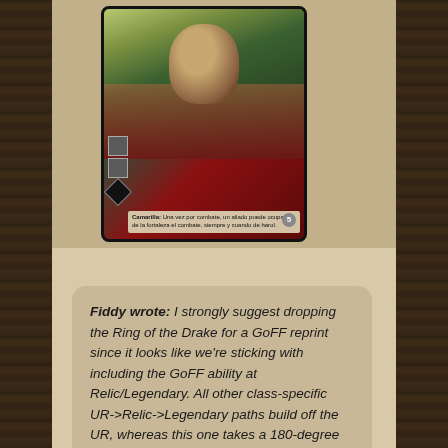[Figure (illustration): A trading card game card showing a face (half green, half pale) with red background and small text box at bottom. Card appears to be from a vampire/horror themed card game.]
Fiddy wrote: I strongly suggest dropping the Ring of the Drake for a GoFF reprint since it looks like we're sticking with including the GoFF ability at Relic/Legendary. All other class-specific UR->Relic->Legendary paths build off the UR, whereas this one takes a 180-degree turn.

Save the Returning-granting effect for a different token next year (and maybe with a broader application than Shuriken).